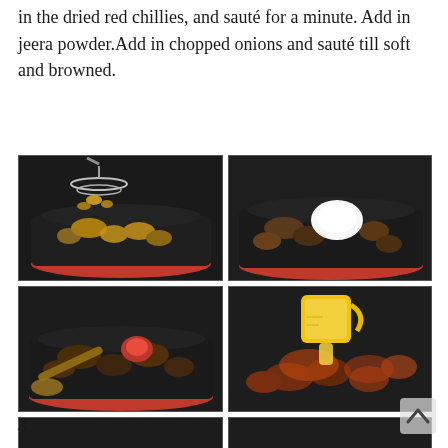in the dried red chillies, and sauté for a minute. Add in jeera powder.Add in chopped onions and sauté till soft and browned.
[Figure (photo): Six-panel cooking process grid showing steps of preparing a spiced meat/vegetable dish in a red pan: (1) adding fried pieces from strainer, (2) adding yogurt/cream, (3) adding tomato paste with wooden spoon, (4) pouring liquid from yellow measuring cup, (5) adding pink sauce/cream, (6) final dish with green herb garnish.]
4.